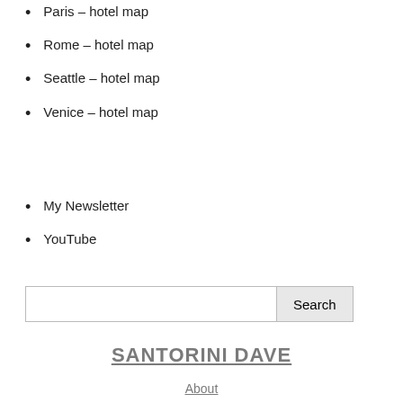Paris – hotel map
Rome – hotel map
Seattle – hotel map
Venice – hotel map
My Newsletter
YouTube
Search
SANTORINI DAVE
About